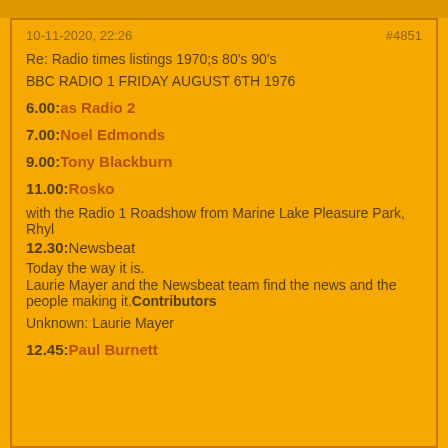10-11-2020, 22:26   #4851
Re: Radio times listings 1970;s 80's 90's
BBC RADIO 1 FRIDAY AUGUST 6TH 1976
6.00: as Radio 2
7.00: Noel Edmonds
9.00: Tony Blackburn
11.00: Rosko
with the Radio 1 Roadshow from Marine Lake Pleasure Park, Rhyl
12.30: Newsbeat
Today the way it is.
Laurie Mayer and the Newsbeat team find the news and the people making it. Contributors
Unknown: Laurie Mayer
12.45: Paul Burnett